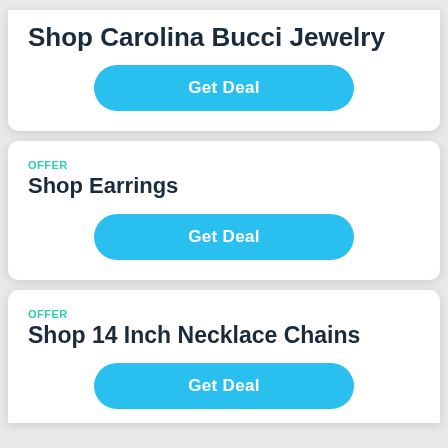Shop Carolina Bucci Jewelry
Get Deal
OFFER
Shop Earrings
Get Deal
OFFER
Shop 14 Inch Necklace Chains
Get Deal